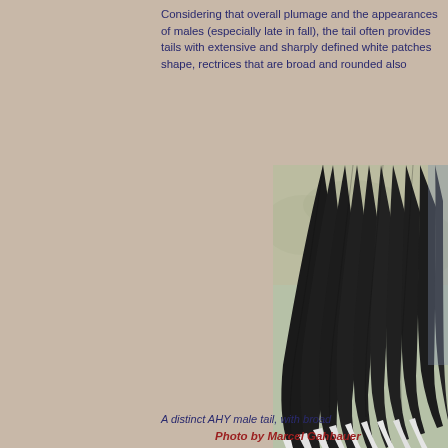Considering that overall plumage and the appearance of males (especially late in fall), the tail often provides tails with extensive and sharply defined white patches shape, rectrices that are broad and rounded also
[Figure (photo): Close-up photograph of a bird tail showing black feathers fanned out with white patches at the base, identified as a distinct AHY male tail with broad rounded rectrices. Photo by Marcel Gahbauer.]
A distinct AHY male tail, with broad
Photo by Marcel Gahbauer